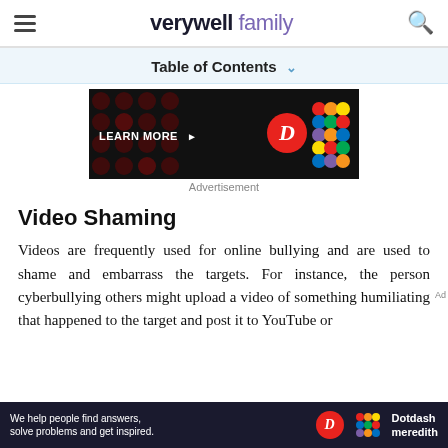verywell family
Table of Contents ∨
[Figure (illustration): Advertisement banner with dark background, red dot pattern on left with 'LEARN MORE >' text, a red circular D logo, and colorful interlocking squares logo on right]
Advertisement
Video Shaming
Videos are frequently used for online bullying and are used to shame and embarrass the targets. For instance, the person cyberbullying others might upload a video of something humiliating that happened to the target and post it to YouTube or
[Figure (illustration): Bottom advertisement bar: 'We help people find answers, solve problems and get inspired.' with Dotdash Meredith branding]